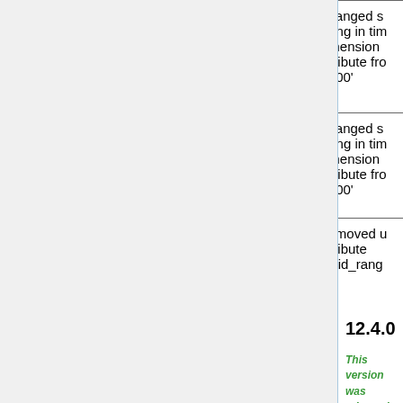| Dataset/Variable | Version | Change |
| --- | --- | --- |
| TOMS/SBUV | Default | Changed string in time dimension attribute from ... to '00' |
| India mask | Default | Removed attribute 'valid_rang... |
| BIOFUEL | Default | Regridded 4x5 to 2x2.5... |
12.4.0
This version was released on 05 Aug 2019.